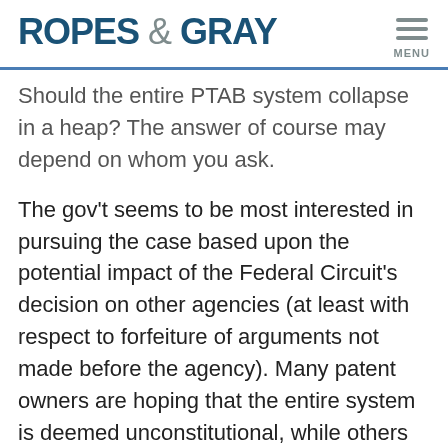ROPES & GRAY
Should the entire PTAB system collapse in a heap? The answer of course may depend on whom you ask.
The gov't seems to be most interested in pursuing the case based upon the potential impact of the Federal Circuit's decision on other agencies (at least with respect to forfeiture of arguments not made before the agency). Many patent owners are hoping that the entire system is deemed unconstitutional, while others are just wondering if they are going to get a new PTAB trial before different judges. My view is that the Court is unlikely to strike down the entire system, it is more of just a question of how many new trials will be required — a handful, or 100+